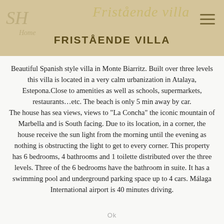Fristående villa
FRISTÅENDE VILLA
Beautiful Spanish style villa in Monte Biarritz. Built over three levels this villa is located in a very calm urbanization in Atalaya, Estepona.Close to amenities as well as schools, supermarkets, restaurants...etc. The beach is only 5 min away by car.
The house has sea views, views to "La Concha" the iconic mountain of Marbella and is South facing. Due to its location, in a corner, the house receive the sun light from the morning until the evening as nothing is obstructing the light to get to every corner. This property has 6 bedrooms, 4 bathrooms and 1 toilette distributed over the three levels. Three of the 6 bedrooms have the bathroom in suite. It has a swimming pool and underground parking space up to 4 cars. Málaga International airport is 40 minutes driving.
Ok